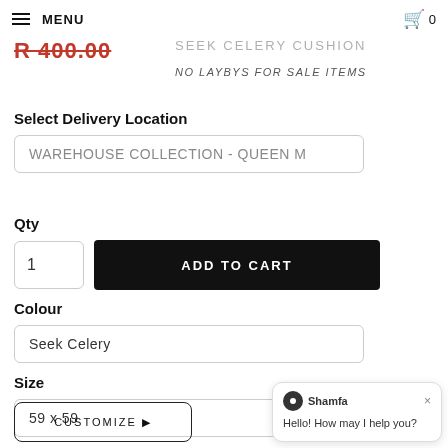MENU  0
R 400.00
SEEK CELERY CUSHION
NO LAYBYS FOR SALE ITEMS
Select Delivery Location
WAREHOUSE COLLECTION - QUEEN M
Qty
1
ADD TO CART
Colour
Seek Celery
Size
59 x 59
CUSTOMIZE ▶
Shamfa
Hello! How may I help you?